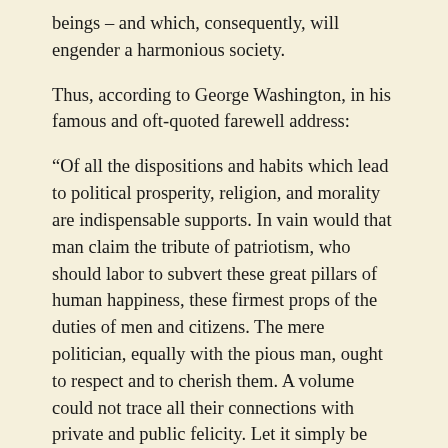beings – and which, consequently, will engender a harmonious society.
Thus, according to George Washington, in his famous and oft-quoted farewell address:
“Of all the dispositions and habits which lead to political prosperity, religion, and morality are indispensable supports. In vain would that man claim the tribute of patriotism, who should labor to subvert these great pillars of human happiness, these firmest props of the duties of men and citizens. The mere politician, equally with the pious man, ought to respect and to cherish them. A volume could not trace all their connections with private and public felicity. Let it simply be asked: Where is the security for property, for reputation, for life, if the sense of religious obligation desert the oaths which are the instruments of investigation in courts of justice? And let us with caution indulge the supposition that morality can be maintained without religion. Whatever may be